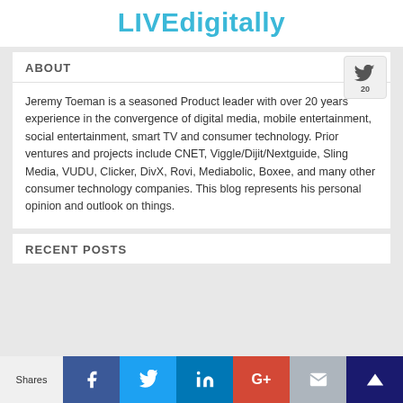LIVEdigitally
ABOUT
Jeremy Toeman is a seasoned Product leader with over 20 years experience in the convergence of digital media, mobile entertainment, social entertainment, smart TV and consumer technology. Prior ventures and projects include CNET, Viggle/Dijit/Nextguide, Sling Media, VUDU, Clicker, DivX, Rovi, Mediabolic, Boxee, and many other consumer technology companies. This blog represents his personal opinion and outlook on things.
RECENT POSTS
Shares | Facebook | Twitter | LinkedIn | Google+ | Email | Crown